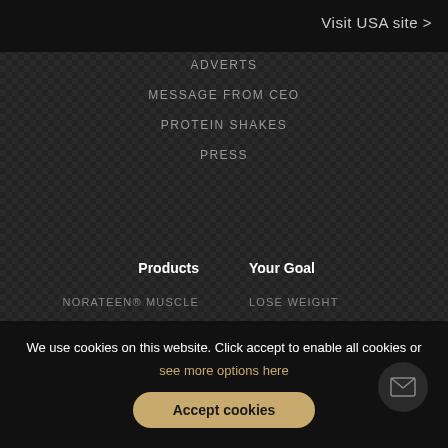Visit USA site >
ADVERTS
MESSAGE FROM CEO
PROTEIN SHAKES
PRESS
Products
Your Goal
NORATEEN® MUSCLE
LOSE WEIGHT
BUILDERS
BUILD MUSCLE
MUSCLE BUILDING
SIX PACK ABS
SUPPLEMENTS
LOOK GOOD FAST
TESTOSTERONE BOOSTERS
GAIN WEIGHT
WEIGHT LOSS SUPPLEMENTS
WOMEN'S FITNESS
PRE/POST WORKOUT
MALE SEXUAL ENH…
We use cookies on this website. Click accept to enable all cookies or see more options here
Accept cookies